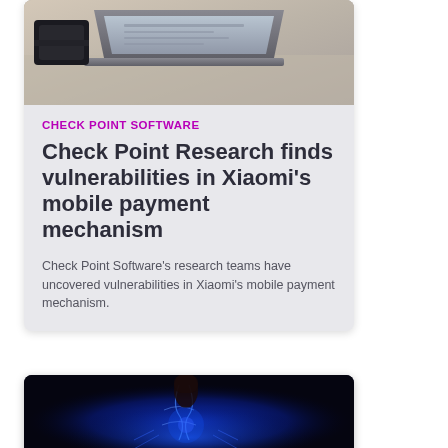[Figure (photo): Laptop computer on a desk, viewed from above at an angle, dark keyboard visible]
CHECK POINT SOFTWARE
Check Point Research finds vulnerabilities in Xiaomi's mobile payment mechanism
Check Point Software's research teams have uncovered vulnerabilities in Xiaomi's mobile payment mechanism.
[Figure (photo): Close-up of a finger touching a glowing blue digital surface with electric arcs]